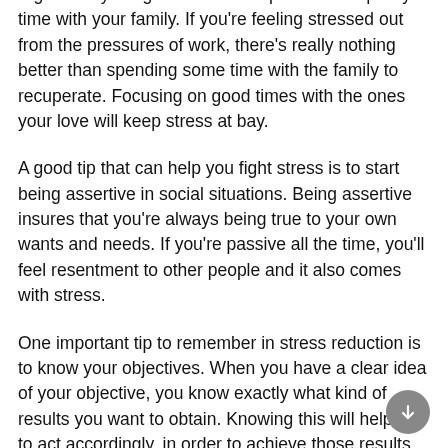A great way to fight stress is to spend some quality time with your family. If you're feeling stressed out from the pressures of work, there's really nothing better than spending some time with the family to recuperate. Focusing on good times with the ones your love will keep stress at bay.
A good tip that can help you fight stress is to start being assertive in social situations. Being assertive insures that you're always being true to your own wants and needs. If you're passive all the time, you'll feel resentment to other people and it also comes with stress.
One important tip to remember in stress reduction is to know your objectives. When you have a clear idea of your objective, you know exactly what kind of results you want to obtain. Knowing this will help you to act accordingly, in order to achieve those results and avoid being stressed out by unexpected results.
In order to manage your stress, take a vacation. This is